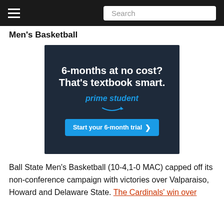Search
Men's Basketball
[Figure (infographic): Amazon Prime Student advertisement: '6-months at no cost? That's textbook smart.' with prime student logo and 'Start your 6-month trial >' button on dark navy background]
Ball State Men's Basketball (10-4,1-0 MAC) capped off its non-conference campaign with victories over Valparaiso, Howard and Delaware State. The Cardinals' win over